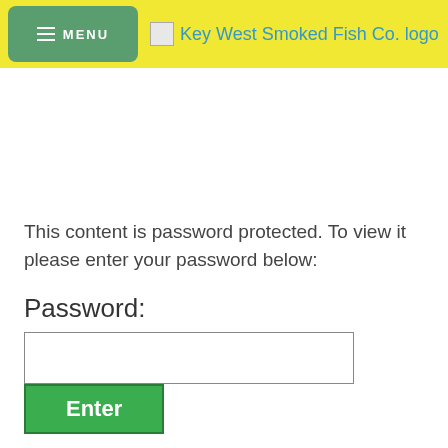MENU | Key West Smoked Fish Co. logo
This content is password protected. To view it please enter your password below:
Password:
Enter